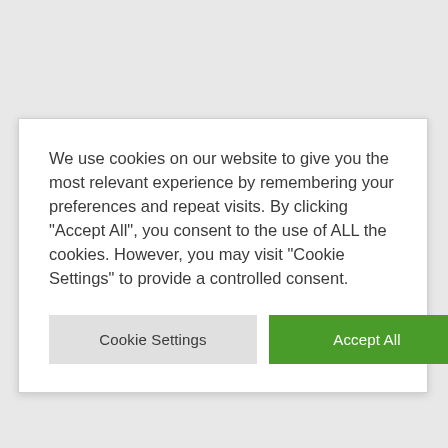We use cookies on our website to give you the most relevant experience by remembering your preferences and repeat visits. By clicking "Accept All", you consent to the use of ALL the cookies. However, you may visit "Cookie Settings" to provide a controlled consent.
Cookie Settings | Accept All